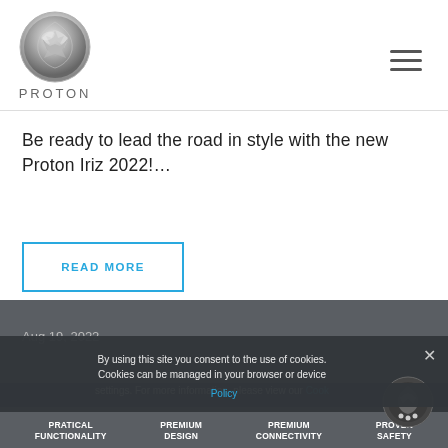[Figure (logo): Proton car brand logo: circular silver emblem with stylized tiger/arrow design above the text PROTON in silver uppercase letters]
Be ready to lead the road in style with the new Proton Iriz 2022!…
READ MORE
Aug 19, 2022
By using this site you consent to the use of cookies. Cookies can be managed in your browser or device settings. For more information, please view our Cookie Policy
PRATICAL FUNCTIONALITY   PREMIUM DESIGN   PREMIUM CONNECTIVITY   PROVEN SAFETY